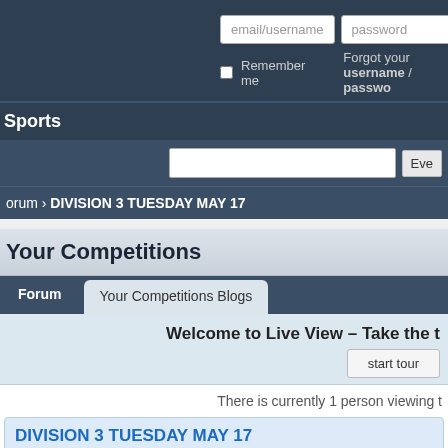[Figure (screenshot): Website header with login fields (email/username, password with eye icon), Log In button, Remember me checkbox, Forgot username/password link]
Sports
[Figure (screenshot): Search bar with text input and Eve button]
orum › DIVISION 3 TUESDAY MAY 17
Your Competitions
Forum | Your Competitions Blogs
Welcome to Live View – Take the t
start tour
There is currently 1 person viewing t
DIVISION 3 TUESDAY MAY 17
Knight Commander 16 May 22 17:02
Joined: 05 May 04 | Topic/replies: 94,325 | Blogger: Knight Comma